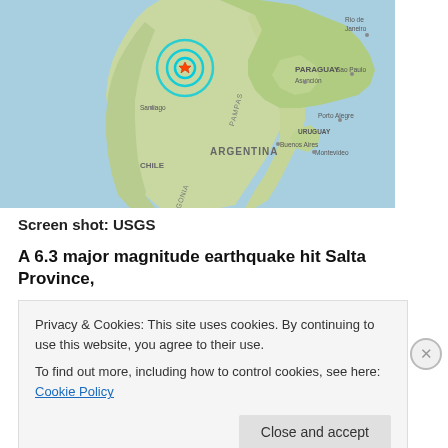[Figure (map): USGS earthquake map showing South America with epicenter marker (red star with cyan concentric circles) located in northwestern Argentina (Salta Province area). Map shows Argentina, Chile, Paraguay, Uruguay, Brazil. Cities labeled: Santiago, Buenos Aires, Montevideo, Porto Alegre, Sao Paulo, Rio de Janeiro, Asuncion. Geographic labels: PAMPAS, ARGENTINA, CHILE, PATAGONIA, URUGUAY, PARAGUAY.]
Screen shot:  USGS
A 6.3 major magnitude earthquake hit Salta Province,
Privacy & Cookies: This site uses cookies. By continuing to use this website, you agree to their use.
To find out more, including how to control cookies, see here: Cookie Policy
Close and accept